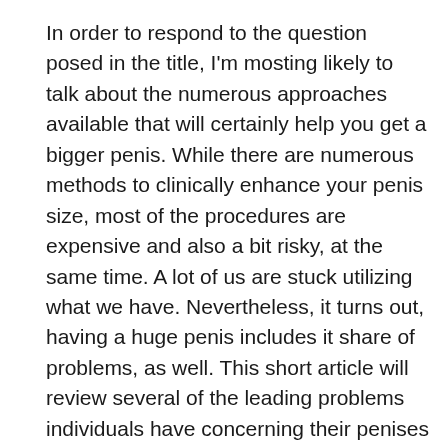In order to respond to the question posed in the title, I'm mosting likely to talk about the numerous approaches available that will certainly help you get a bigger penis. While there are numerous methods to clinically enhance your penis size, most of the procedures are expensive and also a bit risky, at the same time. A lot of us are stuck utilizing what we have. Nevertheless, it turns out, having a huge penis includes it share of problems, as well. This short article will review several of the leading problems individuals have concerning their penises and what solutions exist to deal with these problems.
Just how much can you raise your penis size? Most men that read this is going to want to...